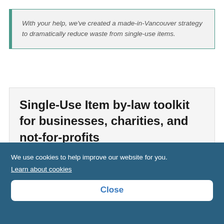With your help, we've created a made-in-Vancouver strategy to dramatically reduce waste from single-use items.
Single-Use Item by-law toolkit for businesses, charities, and not-for-profits
We use cookies to help improve our website for you. Learn about cookies
Close
VANCOUVER
SINGLE-USE ITEM BY-LAW GUIDE
JULY 2021
Magdownload o